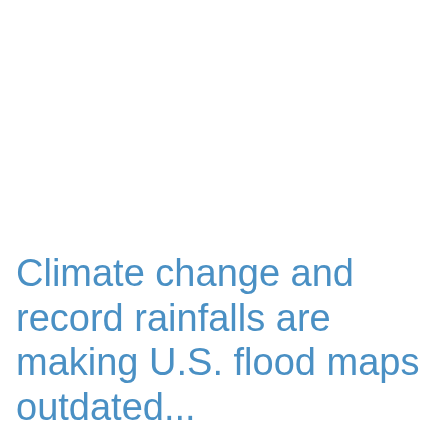Climate change and record rainfalls are making U.S. flood maps outdated...